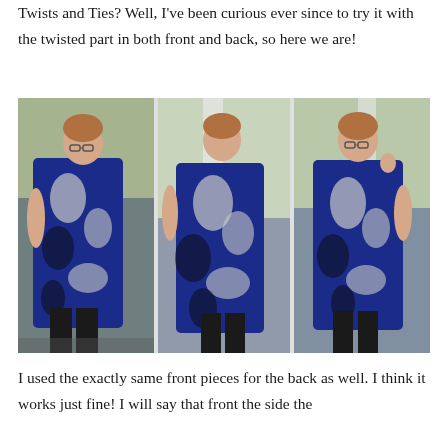Twists and Ties? Well, I've been curious ever since to try it with the twisted part in both front and back, so here we are!
[Figure (photo): Three photos side by side of a woman wearing a blue, black, and white floral sleeveless dress. Left photo shows the front view, middle photo shows the back view, and right photo shows a three-quarter front view. The setting appears to be an outdoor porch or building entrance with white columns.]
I used the exactly same front pieces for the back as well. I think it works just fine! I will say that front the side the